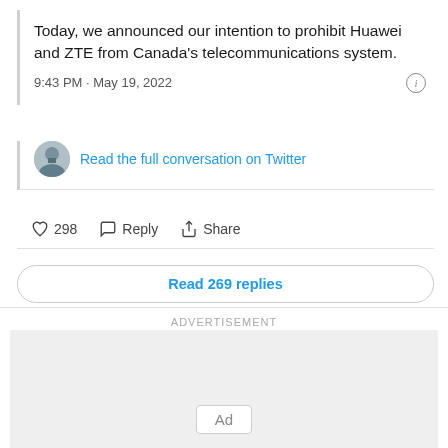Today, we announced our intention to prohibit Huawei and ZTE from Canada's telecommunications system.
9:43 PM · May 19, 2022
Read the full conversation on Twitter
♡ 298  Reply  Share
Read 269 replies
ADVERTISEMENT
[Figure (other): Empty advertisement placeholder box with 'Ad' badge at bottom]